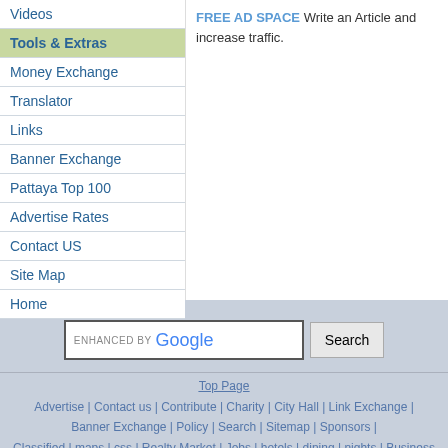Videos
Tools & Extras
Money Exchange
Translator
Links
Banner Exchange
Pattaya Top 100
Advertise Rates
Contact US
Site Map
Home
FREE AD SPACE Write an Article and increase traffic.
[Figure (screenshot): Google search bar with 'ENHANCED BY Google' text and Search button]
Top Page
Advertise | Contact us | Contribute | Charity | City Hall | Link Exchange | Banner Exchange | Policy | Search | Sitemap | Sponsors |
Classified | maps | css | Realty Market | Jobs | hotels | dining | nights | Business Finder | read | Links | Speak Thai | trans | Smart Faq | chat | Reports
1996-2010 © PattayaCity.com 0 þ Fight Spam!